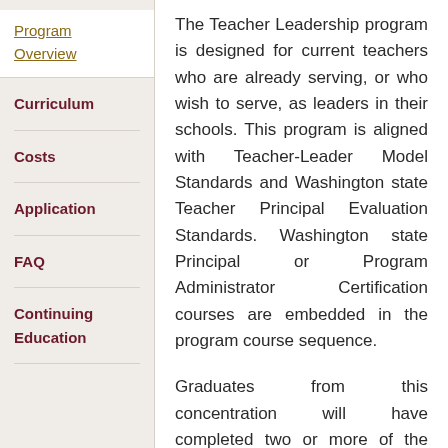Program Overview
Curriculum
Costs
Application
FAQ
Continuing Education
The Teacher Leadership program is designed for current teachers who are already serving, or who wish to serve, as leaders in their schools. This program is aligned with Teacher-Leader Model Standards and Washington state Teacher Principal Evaluation Standards. Washington state Principal or Program Administrator Certification courses are embedded in the program course sequence.
Graduates from this concentration will have completed two or more of the seven required classes for the Principal Certificate or Program